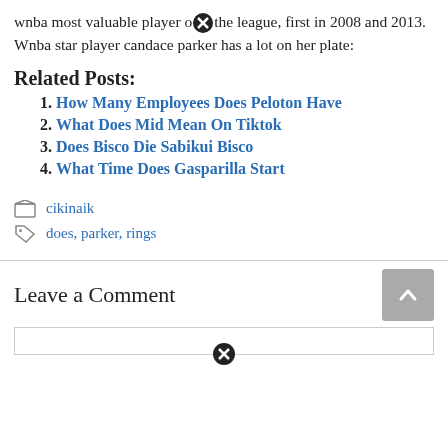wnba most valuable player of the league, first in 2008 and 2013. Wnba star player candace parker has a lot on her plate:
Related Posts:
1. How Many Employees Does Peloton Have
2. What Does Mid Mean On Tiktok
3. Does Bisco Die Sabikui Bisco
4. What Time Does Gasparilla Start
cikinaik
does, parker, rings
Leave a Comment